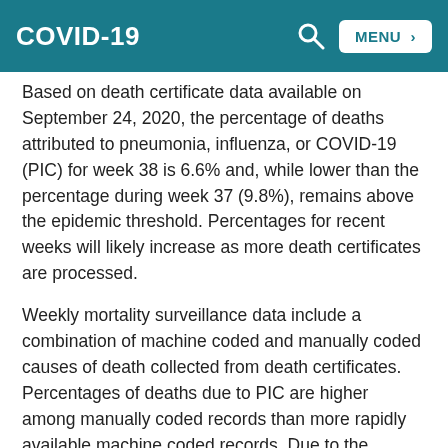COVID-19
Based on death certificate data available on September 24, 2020, the percentage of deaths attributed to pneumonia, influenza, or COVID-19 (PIC) for week 38 is 6.6% and, while lower than the percentage during week 37 (9.8%), remains above the epidemic threshold. Percentages for recent weeks will likely increase as more death certificates are processed.
Weekly mortality surveillance data include a combination of machine coded and manually coded causes of death collected from death certificates. Percentages of deaths due to PIC are higher among manually coded records than more rapidly available machine coded records. Due to the